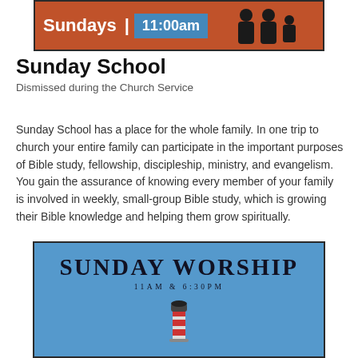[Figure (illustration): Banner image showing 'Sundays | 11:00am' text with orange/red background, blue time badge, and silhouettes of people on the right]
Sunday School
Dismissed during the Church Service
Sunday School has a place for the whole family. In one trip to church your entire family can participate in the important purposes of Bible study, fellowship, discipleship, ministry, and evangelism. You gain the assurance of knowing every member of your family is involved in weekly, small-group Bible study, which is growing their Bible knowledge and helping them grow spiritually.
[Figure (illustration): Blue banner image with 'SUNDAY WORSHIP' in large serif text and '11AM & 6:30PM' below, with a lighthouse at the bottom]